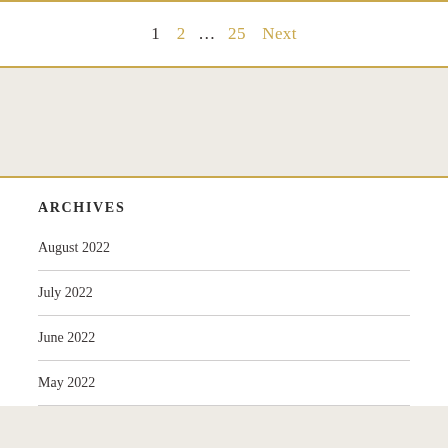1  2  ...  25  Next
ARCHIVES
August 2022
July 2022
June 2022
May 2022